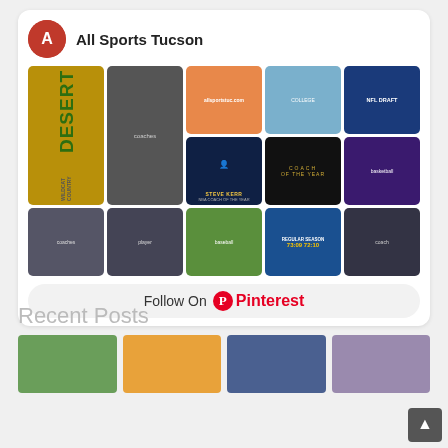All Sports Tucson
[Figure (infographic): Pinterest board widget showing 'All Sports Tucson' profile with a grid of sports-related pin images including Desert/Wildcat Country sign, Steve Kerr, Coach of the Year, NFL Draft, and basketball photos]
Follow On Pinterest
Recent Posts
[Figure (photo): Four recent post thumbnail images showing golf, basketball, team photo, and another sports image]